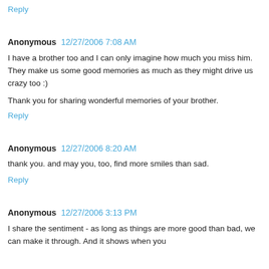Reply
Anonymous  12/27/2006 7:08 AM
I have a brother too and I can only imagine how much you miss him. They make us some good memories as much as they might drive us crazy too :)
Thank you for sharing wonderful memories of your brother.
Reply
Anonymous  12/27/2006 8:20 AM
thank you. and may you, too, find more smiles than sad.
Reply
Anonymous  12/27/2006 3:13 PM
I share the sentiment - as long as things are more good than bad, we can make it through. And it shows when you